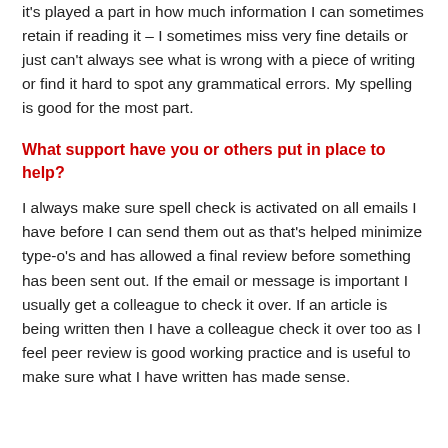it's played a part in how much information I can sometimes retain if reading it – I sometimes miss very fine details or just can't always see what is wrong with a piece of writing or find it hard to spot any grammatical errors. My spelling is good for the most part.
What support have you or others put in place to help?
I always make sure spell check is activated on all emails I have before I can send them out as that's helped minimize type-o's and has allowed a final review before something has been sent out. If the email or message is important I usually get a colleague to check it over. If an article is being written then I have a colleague check it over too as I feel peer review is good working practice and is useful to make sure what I have written has made sense.